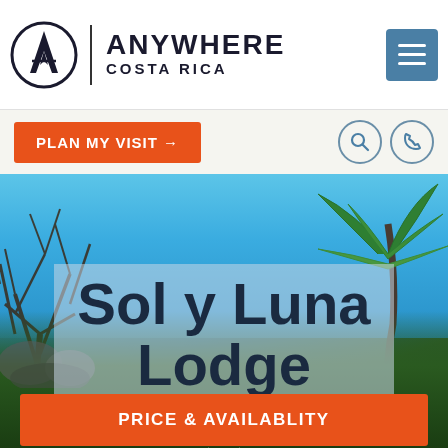[Figure (logo): Anywhere Costa Rica logo with circular mountain/compass icon, vertical divider, brand name ANYWHERE COSTA RICA in bold, and hamburger menu button in blue]
PLAN MY VISIT →
Sol y Luna Lodge
[Figure (photo): Outdoor tropical scene with blue sky, bare tree branches on left, palm trees on right, rocks and green foliage at bottom]
★ ★
PRICE & AVAILABLITY